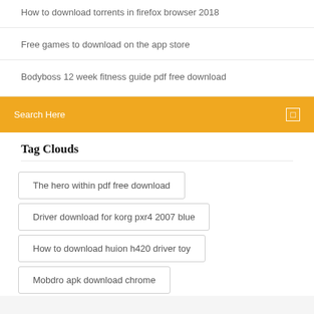How to download torrents in firefox browser 2018
Free games to download on the app store
Bodyboss 12 week fitness guide pdf free download
Search Here
Tag Clouds
The hero within pdf free download
Driver download for korg pxr4 2007 blue
How to download huion h420 driver toy
Mobdro apk download chrome